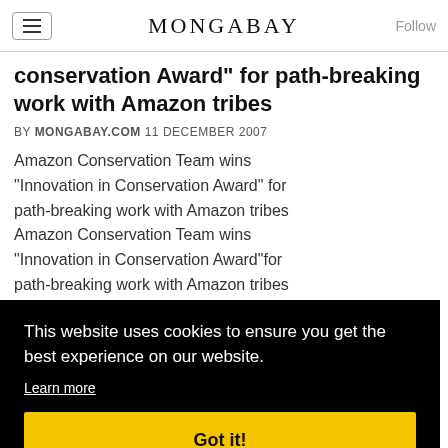MONGABAY
conservation Award" for path-breaking work with Amazon tribes
BY MONGABAY.COM 11 DECEMBER 2007
Amazon Conservation Team wins "Innovation in Conservation Award" for path-breaking work with Amazon tribes Amazon Conservation Team wins "Innovation in Conservation Award"for path-breaking work with Amazon tribes
[Figure (screenshot): Cookie consent overlay with black background. Text: 'This website uses cookies to ensure you get the best experience on our website.' with 'Learn more' link and yellow 'Got it!' button.]
Amazon rainforest children to get